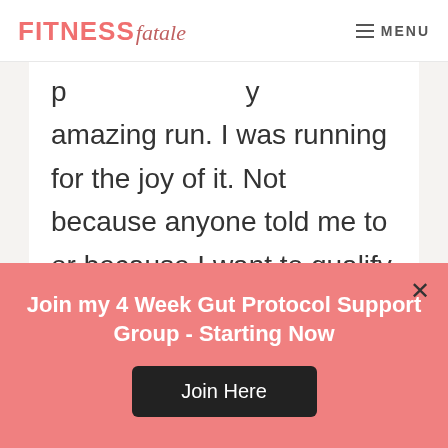FITNESSfatale  MENU
p ... y ...
amazing run. I was running for the joy of it. Not because anyone told me to or because I want to qualify for Boston. As the sun started to set I stopped and took pictures, smiled at strangers and stopped again for more pictures of the same beach.
Join my 4 Week Gut Protocol Support Group - Starting Now
Join Here